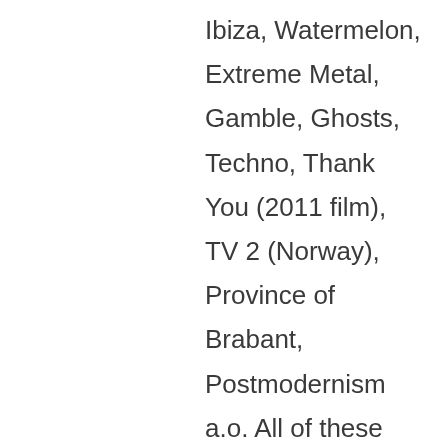Ibiza, Watermelon, Extreme Metal, Gamble, Ghosts, Techno, Thank You (2011 film), TV 2 (Norway), Province of Brabant, Postmodernism a.o. All of these data points are proxies.